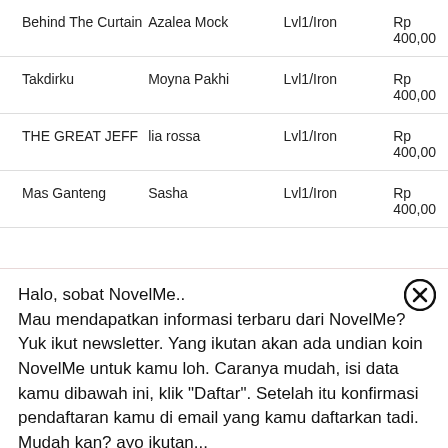| Novel | Author | Level | Price |
| --- | --- | --- | --- |
| Behind The Curtain | Azalea Mock | Lvl1/Iron | Rp 400,00 |
| Takdirku | Moyna Pakhi | Lvl1/Iron | Rp 400,00 |
| THE GREAT JEFF | lia rossa | Lvl1/Iron | Rp 400,00 |
| Mas Ganteng | Sasha | Lvl1/Iron | Rp 400,00 |
Halo, sobat NovelMe.. Mau mendapatkan informasi terbaru dari NovelMe? Yuk ikut newsletter. Yang ikutan akan ada undian koin NovelMe untuk kamu loh. Caranya mudah, isi data kamu dibawah ini, klik "Daftar". Setelah itu konfirmasi pendaftaran kamu di email yang kamu daftarkan tadi. Mudah kan? ayo ikutan...